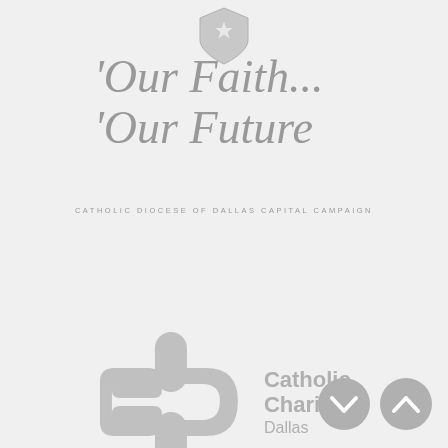[Figure (logo): Shield/crest logo of the Catholic Diocese of Dallas at top center]
Our Faith... Our Future
CATHOLIC DIOCESE OF DALLAS CAPITAL CAMPAIGN
[Figure (logo): Catholic Charities Dallas logo — interlocking C and D letterforms forming a cross symbol with text 'Catholic Charities Dallas']
[Figure (other): Navigation buttons — down arrow and up arrow circles at bottom right]